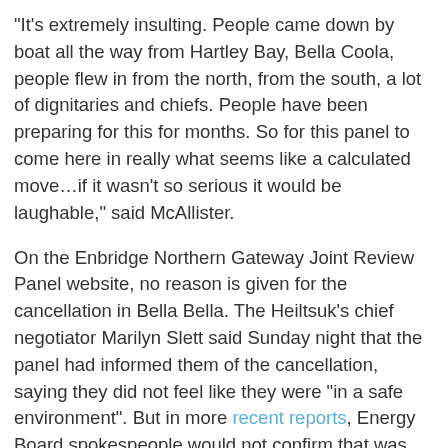"It's extremely insulting. People came down by boat all the way from Hartley Bay, Bella Coola, people flew in from the north, from the south, a lot of dignitaries and chiefs. People have been preparing for this for months. So for this panel to come here in really what seems like a calculated move…if it wasn't so serious it would be laughable," said McAllister.
On the Enbridge Northern Gateway Joint Review Panel website, no reason is given for the cancellation in Bella Bella. The Heiltsuk's chief negotiator Marilyn Slett said Sunday night that the panel had informed them of the cancellation, saying they did not feel like they were "in a safe environment". But in more recent reports, Energy Board spokespeople would not confirm that was the reason, instead citing "logistical issues" as being responsible for the delay.